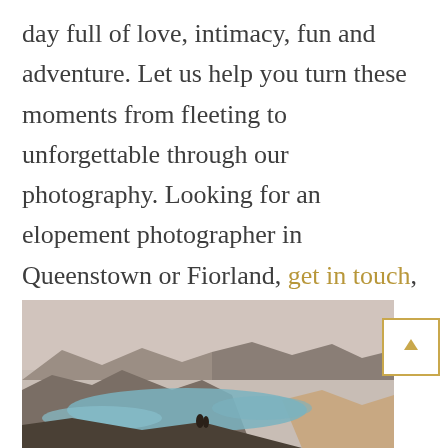day full of love, intimacy, fun and adventure. Let us help you turn these moments from fleeting to unforgettable through our photography. Looking for an elopement photographer in Queenstown or Fiorland, get in touch, we are happy to help you with choosing the best locations.
[Figure (photo): A couple standing on a hilltop overlooking a scenic alpine lake surrounded by mountains, photographed in muted tones with pale sky.]